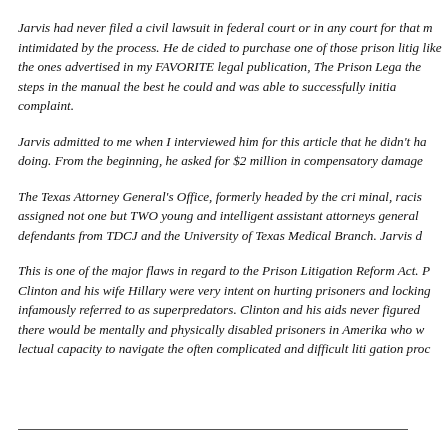Jarvis had never filed a civil lawsuit in federal court or in any court for that m intimidated by the process. He de cided to purchase one of those prison litig like the ones advertised in my FAVORITE legal publication, The Prison Lega the steps in the manual the best he could and was able to successfully initia complaint.
Jarvis admitted to me when I interviewed him for this article that he didn't ha doing. From the beginning, he asked for $2 million in compensatory damage
The Texas Attorney General's Office, formerly headed by the cri minal, racis assigned not one but TWO young and intelligent assistant attorneys general defendants from TDCJ and the University of Texas Medical Branch. Jarvis d
This is one of the major flaws in regard to the Prison Litigation Reform Act. P Clinton and his wife Hillary were very intent on hurting prisoners and locking infamously referred to as superpredators. Clinton and his aids never figured there would be mentally and physically disabled prisoners in Amerika who w lectual capacity to navigate the often complicated and difficult liti gation proc